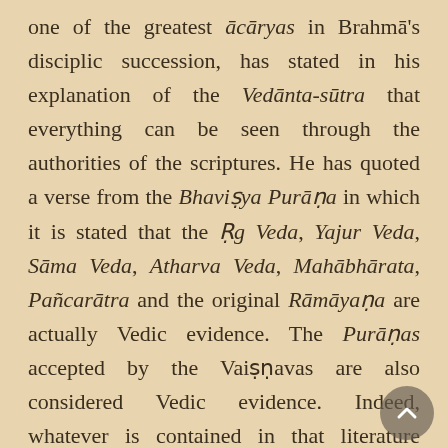one of the greatest ācāryas in Brahmā's disciplic succession, has stated in his explanation of the Vedānta-sūtra that everything can be seen through the authorities of the scriptures. He has quoted a verse from the Bhaviṣya Purāṇa in which it is stated that the Ṛg Veda, Yajur Veda, Sāma Veda, Atharva Veda, Mahābhārata, Pañcarātra and the original Rāmāyaṇa are actually Vedic evidence. The Purāṇas accepted by the Vaiṣṇavas are also considered Vedic evidence. Indeed, whatever is contained in that literature should be taken without argument as the ultimate